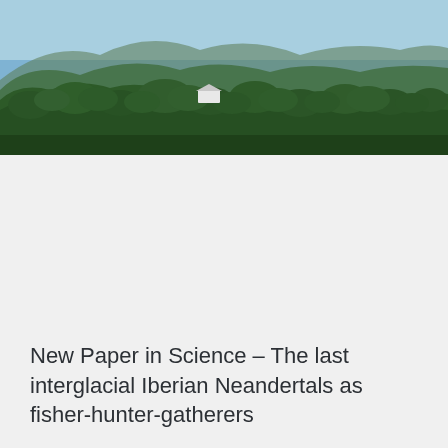[Figure (photo): Aerial or elevated landscape photograph showing dense green forested hillside with mountains in the background under a blue sky. A small white building is visible among the trees in the middle distance.]
New Paper in Science – The last interglacial Iberian Neandertals as fisher-hunter-gatherers